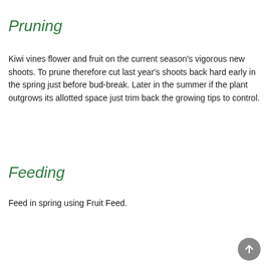Pruning
Kiwi vines flower and fruit on the current season's vigorous new shoots. To prune therefore cut last year's shoots back hard early in the spring just before bud-break. Later in the summer if the plant outgrows its allotted space just trim back the growing tips to control.
Feeding
Feed in spring using Fruit Feed.